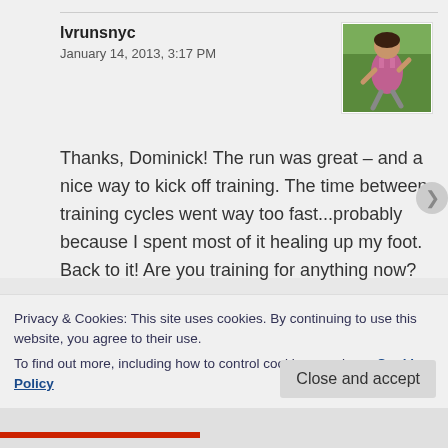lvrunsnyc
January 14, 2013, 3:17 PM
[Figure (photo): Profile photo of a woman running outdoors in a pink tank top]
Thanks, Dominick! The run was great – and a nice way to kick off training. The time between training cycles went way too fast...probably because I spent most of it healing up my foot. Back to it! Are you training for anything now?
Privacy & Cookies: This site uses cookies. By continuing to use this website, you agree to their use.
To find out more, including how to control cookies, see here: Cookie Policy